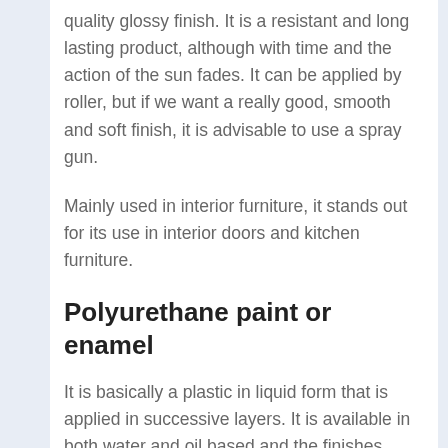quality glossy finish. It is a resistant and long lasting product, although with time and the action of the sun fades. It can be applied by roller, but if we want a really good, smooth and soft finish, it is advisable to use a spray gun.
Mainly used in interior furniture, it stands out for its use in interior doors and kitchen furniture.
Polyurethane paint or enamel
It is basically a plastic in liquid form that is applied in successive layers. It is available in both water and oil based and the finishes range from matte to glossy.
This type of water-based paint dries faster, is less toxic and has much less odor. However, it is less